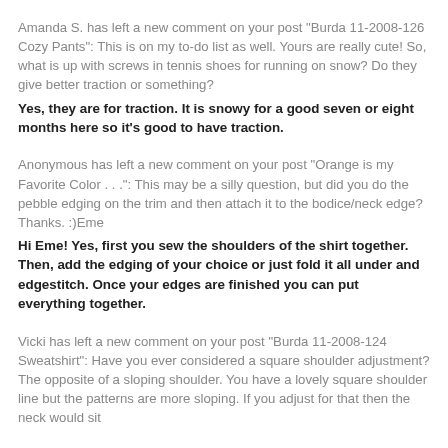Amanda S. has left a new comment on your post "Burda 11-2008-126 Cozy Pants": This is on my to-do list as well. Yours are really cute! So, what is up with screws in tennis shoes for running on snow? Do they give better traction or something?
Yes, they are for traction. It is snowy for a good seven or eight months here so it's good to have traction.
Anonymous has left a new comment on your post "Orange is my Favorite Color . . .": This may be a silly question, but did you do the pebble edging on the trim and then attach it to the bodice/neck edge? Thanks. :)Eme
Hi Eme! Yes, first you sew the shoulders of the shirt together. Then, add the edging of your choice or just fold it all under and edgestitch. Once your edges are finished you can put everything together.
Vicki has left a new comment on your post "Burda 11-2008-124 Sweatshirt": Have you ever considered a square shoulder adjustment? The opposite of a sloping shoulder. You have a lovely square shoulder line but the patterns are more sloping. If you adjust for that then the neck would sit